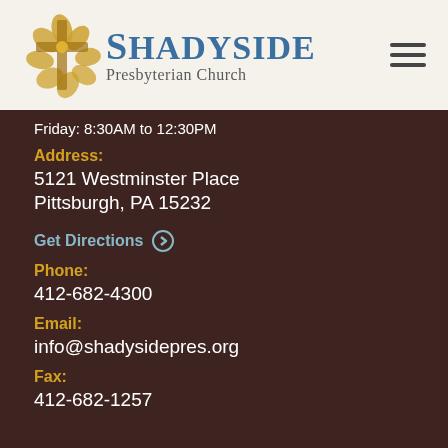[Figure (logo): Shadyside Presbyterian Church logo with golden cross/leaf motif and church name in blue and grey]
Friday: 8:30AM to 12:30PM
Address:
5121 Westminster Place
Pittsburgh, PA 15232
Get Directions ⊙
Phone:
412-682-4300
Email:
info@shadysidepres.org
Fax:
412-682-1257